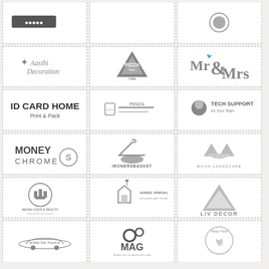[Figure (logo): Aasthi Decoration logo - cursive text with figure]
[Figure (logo): New Pizza Cafe logo - pizza slice with text]
[Figure (logo): Mr & Mrs logo - decorative ampersand typography]
[Figure (logo): ID Card Home Print & Pack logo - bold text]
[Figure (logo): Pencil logo - code icon with pencil text]
[Figure (logo): Tech Support logo - head silhouette]
[Figure (logo): Money Chrome logo - bold text with S symbol]
[Figure (logo): IronersBasket logo - hanger and iron icon]
[Figure (logo): Moon Landscape logo - geometric cat face]
[Figure (logo): Moon Castle Realty logo - castle in circle]
[Figure (logo): Shree Vrikshah Homes logo - building icon]
[Figure (logo): Liv Decor logo - triangle shape]
[Figure (logo): India Tour Travels logo - car silhouette]
[Figure (logo): MAG logo - gear icons with text]
[Figure (logo): Village Foods logo - circular grain design]
[Figure (logo): Basket/store logo - partial bottom]
[Figure (logo): House/building logo - partial bottom]
[Figure (logo): APJ Academy logo - partial bottom]